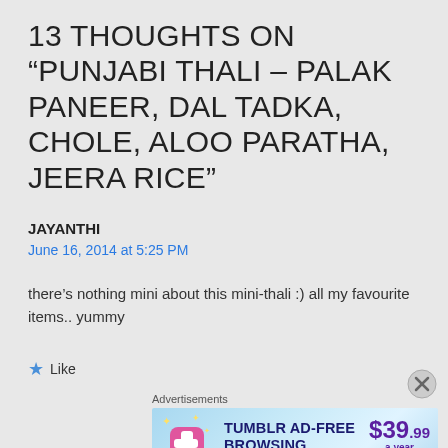13 THOUGHTS ON “PUNJABI THALI – PALAK PANEER, DAL TADKA, CHOLE, ALOO PARATHA, JEERA RICE”
JAYANTHI
June 16, 2014 at 5:25 PM
there’s nothing mini about this mini-thali :) all my favourite items.. yummy
★ Like
[Figure (screenshot): Tumblr Ad-Free Browsing advertisement banner showing $39.99 a year or $4.99 a month pricing with Tumblr logo]
Advertisements